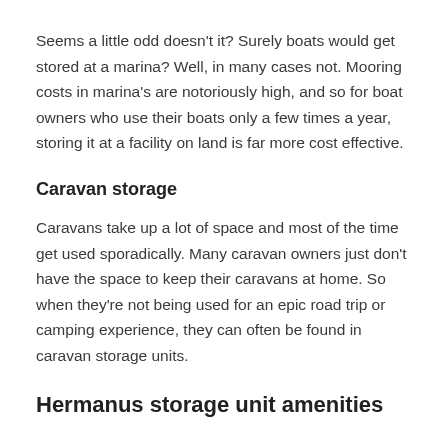Seems a little odd doesn't it? Surely boats would get stored at a marina? Well, in many cases not. Mooring costs in marina's are notoriously high, and so for boat owners who use their boats only a few times a year, storing it at a facility on land is far more cost effective.
Caravan storage
Caravans take up a lot of space and most of the time get used sporadically. Many caravan owners just don't have the space to keep their caravans at home. So when they're not being used for an epic road trip or camping experience, they can often be found in caravan storage units.
Hermanus storage unit amenities